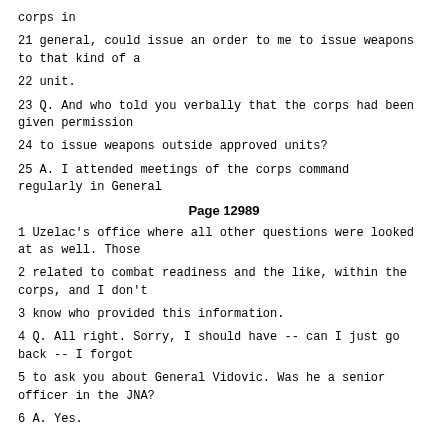corps in
21 general, could issue an order to me to issue weapons to that kind of a
22 unit.
23 Q. And who told you verbally that the corps had been given permission
24 to issue weapons outside approved units?
25 A. I attended meetings of the corps command regularly in General
Page 12989
1 Uzelac's office where all other questions were looked at as well. Those
2 related to combat readiness and the like, within the corps, and I don't
3 know who provided this information.
4 Q. All right. Sorry, I should have -- can I just go back -- I forgot
5 to ask you about General Vidovic. Was he a senior officer in the JNA?
6 A. Yes.